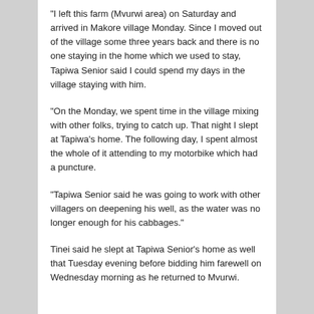“I left this farm (Mvurwi area) on Saturday and arrived in Makore village Monday. Since I moved out of the village some three years back and there is no one staying in the home which we used to stay, Tapiwa Senior said I could spend my days in the village staying with him.
“On the Monday, we spent time in the village mixing with other folks, trying to catch up. That night I slept at Tapiwa’s home. The following day, I spent almost the whole of it attending to my motorbike which had a puncture.
“Tapiwa Senior said he was going to work with other villagers on deepening his well, as the water was no longer enough for his cabbages.”
Tinei said he slept at Tapiwa Senior’s home as well that Tuesday evening before bidding him farewell on Wednesday morning as he returned to Mvurwi.